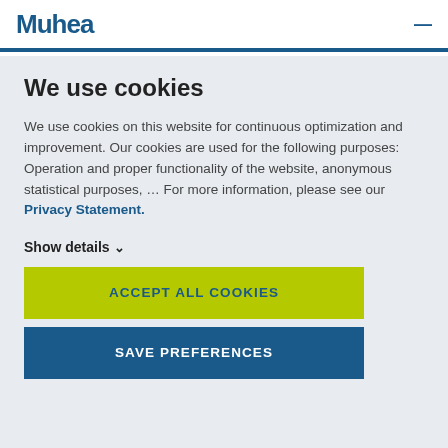Muhea
We use cookies
We use cookies on this website for continuous optimization and improvement. Our cookies are used for the following purposes: Operation and proper functionality of the website, anonymous statistical purposes, … For more information, please see our Privacy Statement.
Show details ∨
ACCEPT ALL COOKIES
SAVE PREFERENCES